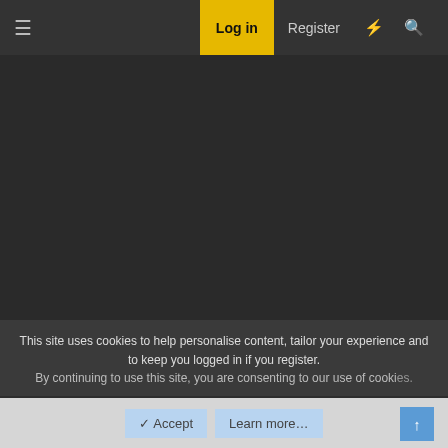Log in | Register
Dec 8, 2021   #2
Squark
Full Access Members
This site uses cookies to help personalise content, tailor your experience and to keep you logged in if you register.
By continuing to use this site, you are consenting to our use of cookies.
✓ Accept   Learn more...